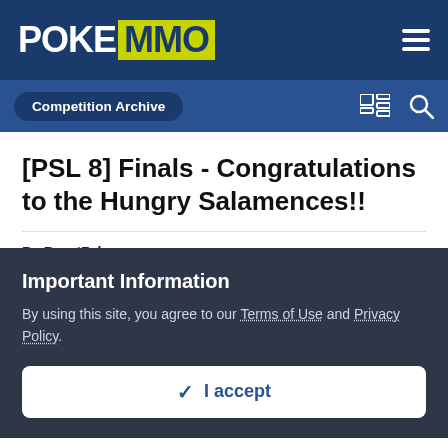POKEMMO
Competition Archive
[PSL 8] Finals - Congratulations to the Hungry Salamences!!
By BurntZebra, August 24, 2017 in Competition Archive
Page 15 of 16
Important Information
By using this site, you agree to our Terms of Use and Privacy Policy.
I accept